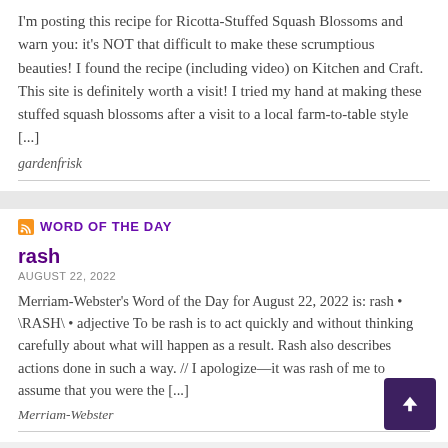I'm posting this recipe for Ricotta-Stuffed Squash Blossoms and warn you: it's NOT that difficult to make these scrumptious beauties! I found the recipe (including video) on Kitchen and Craft. This site is definitely worth a visit! I tried my hand at making these stuffed squash blossoms after a visit to a local farm-to-table style [...]
gardenfrisk
WORD OF THE DAY
rash
AUGUST 22, 2022
Merriam-Webster's Word of the Day for August 22, 2022 is: rash • \RASH\  • adjective To be rash is to act quickly and without thinking carefully about what will happen as a result. Rash also describes actions done in such a way. // I apologize—it was rash of me to assume that you were the [...]
Merriam-Webster